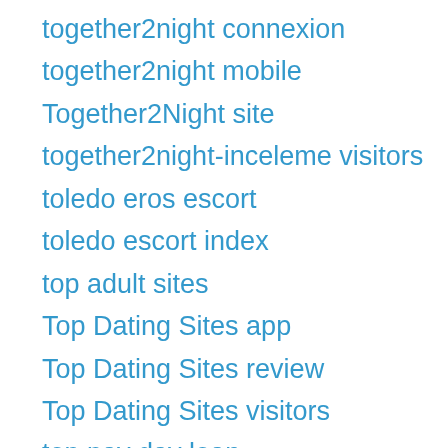together2night connexion
together2night mobile
Together2Night site
together2night-inceleme visitors
toledo eros escort
toledo escort index
top adult sites
Top Dating Sites app
Top Dating Sites review
Top Dating Sites visitors
top pay day loan
top payday loan
top-dating-sites preise
top-datingsites Log in
topeka live escort